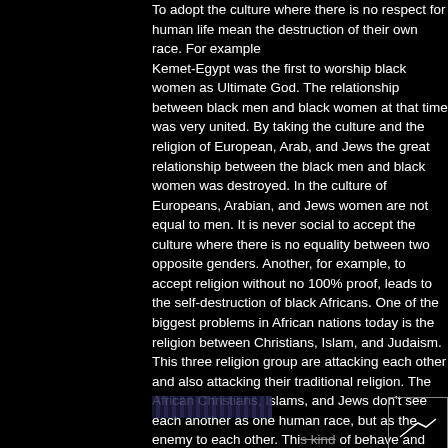To adopt the culture where there is no respect for human life mean the destruction of their own race. For example Kemet-Egypt was the first to worship black women as Ultimate God. The relationship between black men and black women at that time was very united. By taking the culture and the religion of European, Arab, and Jews the great relationship between the black men and black women was destroyed. In the culture of Europeans, Arabian, and Jews women are not equal to men. It is never social to accept the culture where there is no equality between two opposite genders. Another, for example, to accept religion without no 100% proof, leads to the self-destruction of black Africans. One of the biggest problems in African nations today is the religion between Christians, Islam, and Judaism. This three religion group are attacking each other and also attacking their traditional religion. The African Christians, Islams, and Jews don't see each another as one human race, but as the enemy to each other. This kind of behave and logic is originated from the colonizing of black Africans. There is a very big difference in how ancient black Africans treated each other before European and Arabs colonization and enslavement. For example, black Africans in civilizations were